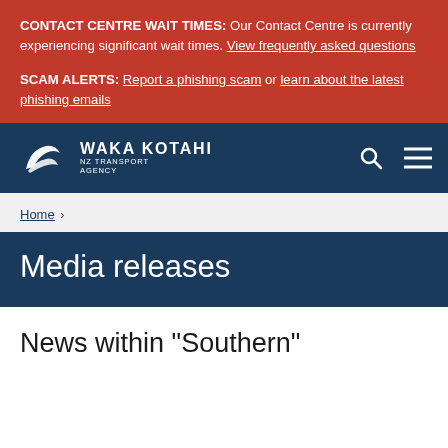CONTACT CENTRE WAIT TIMES: Our Contact Centre is currently experiencing significant wait times. View frequently asked questions
SCAM ALERTS: Report a phishing scam or learn about the latest phishing emails
[Figure (logo): Waka Kotahi NZ Transport Agency logo — white stylized bird/transport mark with text WAKA KOTAHI NZ TRANSPORT AGENCY on dark navy background]
Home
Media releases
News within "Southern"